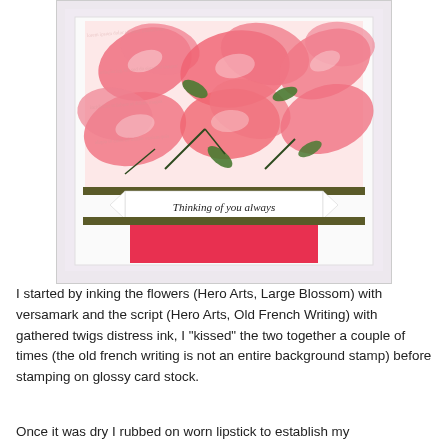[Figure (photo): A handmade greeting card with pink and red magnolia flowers stamped on a white background with script text visible. The card features a banner element reading 'Thinking of you always' with a dark olive/brown horizontal bar, and a red rectangular panel below. The card is displayed on a light purple/lavender surface.]
I started by inking the flowers (Hero Arts, Large Blossom) with versamark and the script (Hero Arts, Old French Writing) with gathered twigs distress ink, I "kissed" the two together a couple of times (the old french writing is not an entire background stamp) before stamping on glossy card stock.
Once it was dry I rubbed on worn lipstick to establish my